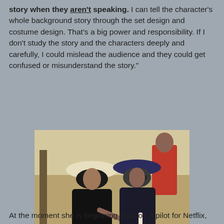story when they aren't speaking. I can tell the character's whole background story through the set design and costume design. That's a big power and responsibility. If I don't study the story and the characters deeply and carefully, I could mislead the audience and they could get confused or misunderstand the story."
[Figure (photo): Two women wearing sunglasses and wide-brimmed hats standing outdoors on a film set. The woman on the left wears a white hat and black outfit, pointing with her finger. The woman on the right wears a dark hat and dark outfit. A man in the background wears a red shirt.]
Carolina on the Downrange set with asst Designer Jasmine Bon
At the moment she is beginning work on a pilot for Netflix,